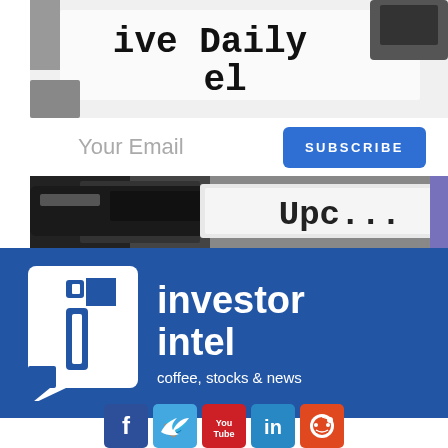[Figure (photo): Newspaper with text 'ive Daily' and 'el' visible, close-up shot in black and white]
Your Email
SUBSCRIBE
[Figure (photo): Close-up of newspaper/typewriter showing text 'Upc...' in large text, black and white photo]
[Figure (logo): InvestorIntel logo: white square icon with 'i' letter on dark blue background, with text 'investor intel' and tagline 'coffee, stocks & news']
[Figure (infographic): Social media icons row: Facebook (blue), Twitter (light blue), YouTube (red), LinkedIn (blue), Reddit (orange-red)]